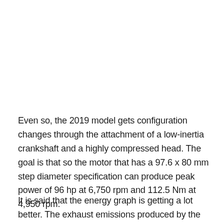Even so, the 2019 model gets configuration changes through the attachment of a low-inertia crankshaft and a highly compressed head. The goal is that so the motor that has a 97.6 x 80 mm step diameter specification can produce peak power of 96 hp at 6,750 rpm and 112.5 Nm at 4,950 rpm.
It is said that the energy graph is getting a lot better. The exhaust emissions produced by the engine are